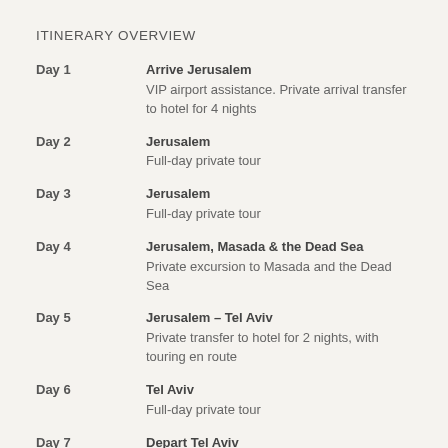ITINERARY OVERVIEW
Day 1 | Arrive Jerusalem | VIP airport assistance. Private arrival transfer to hotel for 4 nights
Day 2 | Jerusalem | Full-day private tour
Day 3 | Jerusalem | Full-day private tour
Day 4 | Jerusalem, Masada & the Dead Sea | Private excursion to Masada and the Dead Sea
Day 5 | Jerusalem – Tel Aviv | Private transfer to hotel for 2 nights, with touring en route
Day 6 | Tel Aviv | Full-day private tour
Day 7 | Depart Tel Aviv | Private airport transfer. VIP departure assistance